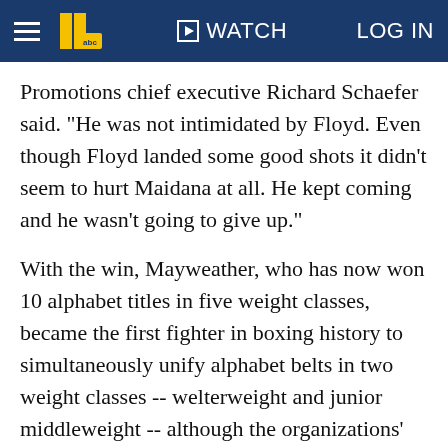WATCH   LOG IN
Promotions chief executive Richard Schaefer said. "He was not intimidated by Floyd. Even though Floyd landed some good shots it didn't seem to hurt Maidana at all. He kept coming and he wasn't going to give up."
With the win, Mayweather, who has now won 10 alphabet titles in five weight classes, became the first fighter in boxing history to simultaneously unify alphabet belts in two weight classes -- welterweight and junior middleweight -- although the organizations' rules do not allow fighters to hold belts in multiple divisions. But they have made an exception for Mayweather, who brings them big money with each of his bouts.